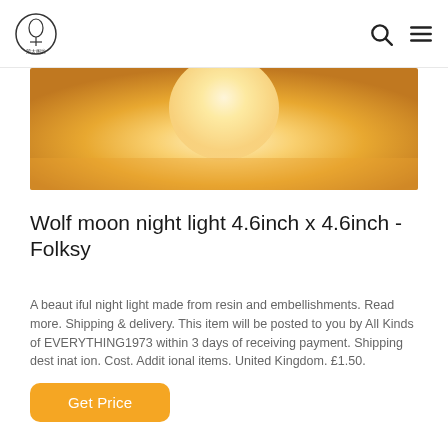Wolf moon night light - Folksy
[Figure (photo): Top portion of a warm glowing night light product photo with orange/yellow warm light tones]
Wolf moon night light 4.6inch x 4.6inch - Folksy
A beaut iful night light made from resin and embellishments. Read more. Shipping & delivery. This item will be posted to you by All Kinds of EVERYTHING1973 within 3 days of receiving payment. Shipping dest inat ion. Cost. Addit ional items. United Kingdom. £1.50.
Get Price
[Figure (photo): Bottom portion showing a dark room scene with a monstera leaf plant silhouette and warm light from a night light]